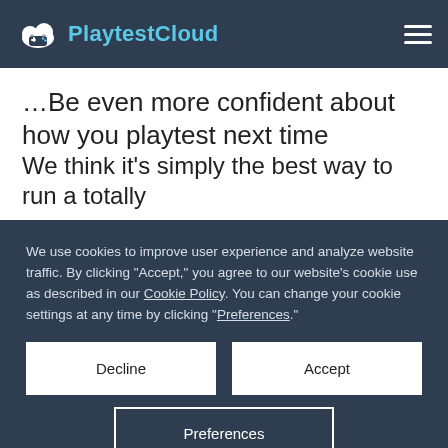PlaytestCloud
…Be even more confident about how you playtest next time
We think it's simply the best way to run a totally
We use cookies to improve user experience and analyze website traffic. By clicking "Accept," you agree to our website's cookie use as described in our Cookie Policy. You can change your cookie settings at any time by clicking "Preferences."
Decline
Accept
Preferences